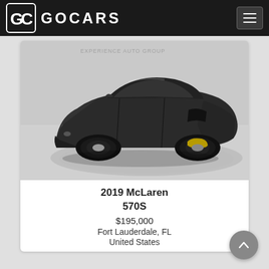GOCARS
[Figure (photo): Dark gray/black McLaren 570S sports car (convertible) photographed in a showroom on a circular platform, front three-quarter view, with yellow brake calipers visible]
2019 McLaren 570S
$195,000
Fort Lauderdale, FL
United States